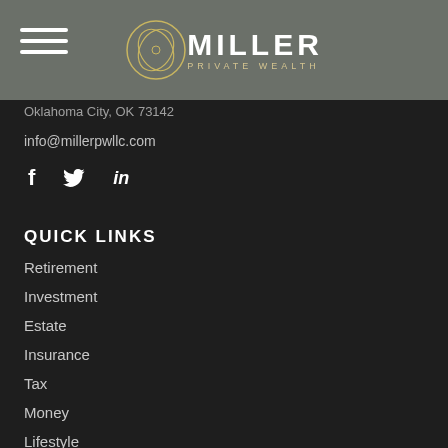[Figure (logo): Miller Private Wealth logo with circular emblem and navigation hamburger menu on grey header bar]
Oklahoma City, OK 73142
info@millerpwllc.com
[Figure (infographic): Social media icons: Facebook (f), Twitter (bird), LinkedIn (in)]
QUICK LINKS
Retirement
Investment
Estate
Insurance
Tax
Money
Lifestyle